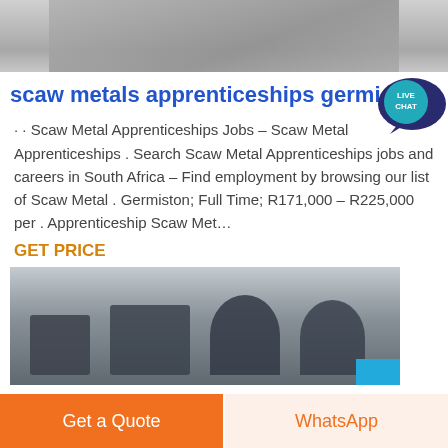[Figure (photo): Top partial image of industrial machinery, cropped at top of page]
scaw metals apprenticeships germiston
[Figure (illustration): Live Chat speech bubble icon in dark navy/teal color with text LIVE CHAT]
· · Scaw Metal Apprenticeships Jobs – Scaw Metal Apprenticeships . Search Scaw Metal Apprenticeships jobs and careers in South Africa – Find employment by browsing our list of Scaw Metal . Germiston; Full Time; R171,000 – R225,000 per . Apprenticeship Scaw Met…
GET PRICE
[Figure (photo): Industrial factory interior with large machinery and crane infrastructure]
Get a Quote
WhatsApp